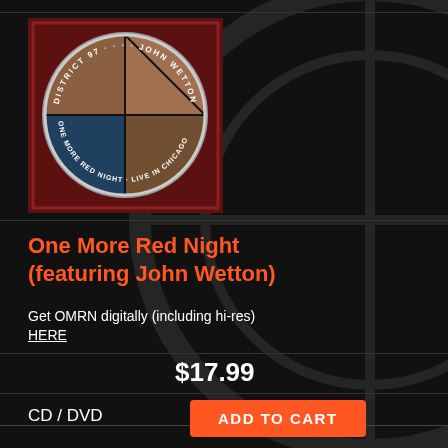[Figure (photo): Album cover for 'One More Red Night featuring John Wetton' by District 97 – circular design with collage of live performance photos, dark red ornamental border, text around the circle reading 'DISTRICT 97', 'JOHN WETTON', 'ONE MORE RED NIGHT', 'LIVE IN CHICAGO']
One More Red Night (featuring John Wetton)
Get OMRN digitally (including hi-res) HERE
$17.99
CD / DVD
ADD TO CART